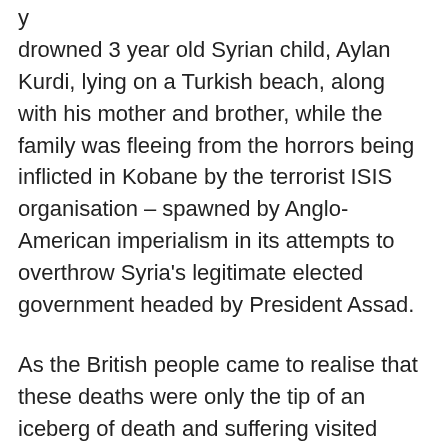y drowned 3 year old Syrian child, Aylan Kurdi, lying on a Turkish beach, along with his mother and brother, while the family was fleeing from the horrors being inflicted in Kobane by the terrorist ISIS organisation – spawned by Anglo-American imperialism in its attempts to overthrow Syria's legitimate elected government headed by President Assad.
As the British people came to realise that these deaths were only the tip of an iceberg of death and suffering visited upon fleeing refugees, they petitioned the government in huge numbers to welcome refugees, and the British government has responded by promising to take in some 5,000 a year, though it was soon made clear that this grudging minimalist concession is to be curtailed in every way possible, with those admitted under the